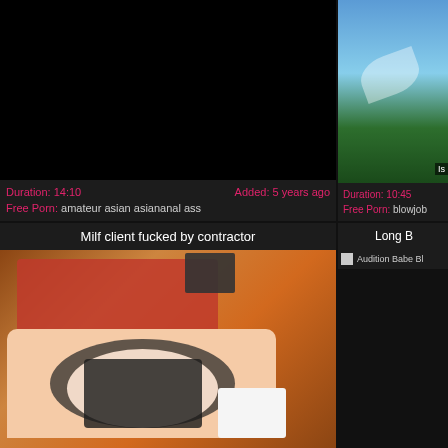[Figure (screenshot): Video thumbnail - dark/black screen, top-left card]
Duration: 14:10    Added: 5 years ago
Free Porn: amateur asian asiananal ass
[Figure (screenshot): Video thumbnail - outdoor scene with foliage, top-right card]
Duration: 10:45
Free Porn: blowjob
Milf client fucked by contractor
[Figure (photo): Video thumbnail showing woman in red top and black lingerie from behind]
Long B
Audition Babe Bl